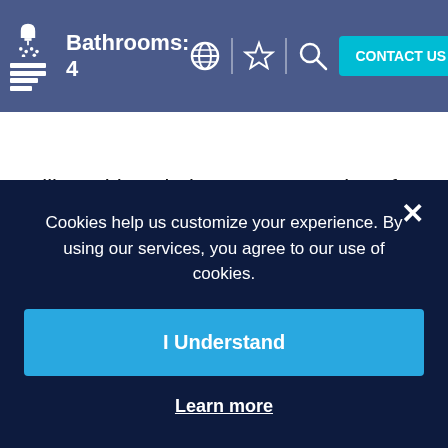Bathrooms: 4
Villa Goldene belongs to a complex of four private villas that combine state-of the art amenities with high services.Each villa provides its own magic touch through all villas share the same qualities of coolness,calmness and breathtaking view to the sea. This impresive Villa has
Cookies help us customize your experience. By using our services, you agree to our use of cookies.
I Understand
Learn more